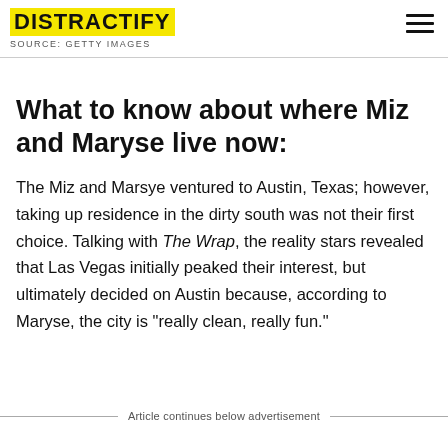DISTRACTIFY
SOURCE: GETTY IMAGES
What to know about where Miz and Maryse live now:
The Miz and Marsye ventured to Austin, Texas; however, taking up residence in the dirty south was not their first choice. Talking with The Wrap, the reality stars revealed that Las Vegas initially peaked their interest, but ultimately decided on Austin because, according to Maryse, the city is "really clean, really fun."
Article continues below advertisement